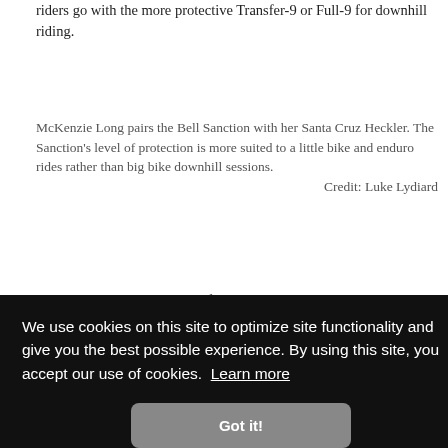riders go with the more protective Transfer-9 or Full-9 for downhill riding.
McKenzie Long pairs the Bell Sanction with her Santa Cruz Heckler. The Sanction's level of protection is more suited to a little bike and enduro rides rather than big bike downhill sessions. Credit: Luke Lydiard
We haven't gotten into scientific crash testing at OutdoorGearLab yet, so we leave the crash testing, which is
We do
et will
on.
e a toy
e in
and
ons
We use cookies on this site to optimize site functionality and give you the best possible experience. By using this site, you accept our use of cookies. Learn more
Got it!